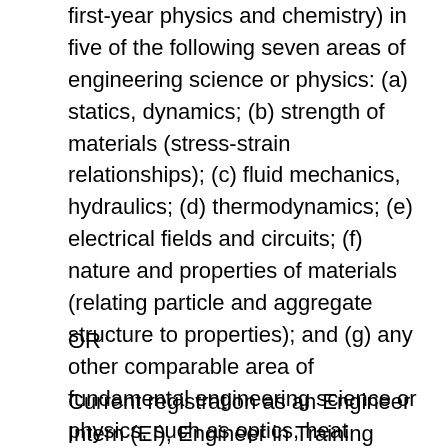first-year physics and chemistry) in five of the following seven areas of engineering science or physics: (a) statics, dynamics; (b) strength of materials (stress-strain relationships); (c) fluid mechanics, hydraulics; (d) thermodynamics; (e) electrical fields and circuits; (f) nature and properties of materials (relating particle and aggregate structure to properties); and (g) any other comparable area of fundamental engineering science or physics, such as optics, heat transfer, soil mechanics, or electronics. Such education must demonstrate the knowledge, skills, and abilities necessary to do the work of the position.
OR
Current registration as an Engineer Intern (EI), Engineer in Training (EIT), or licensure as a Professional Engineer